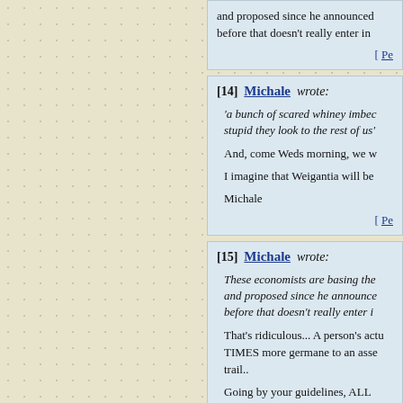and proposed since he announced before that doesn't really enter in
[ Pe
[14] Michale wrote:
'a bunch of scared whiney imbec stupid they look to the rest of us'
And, come Weds morning, we w
I imagine that Weigantia will be
Michale
[ Pe
[15] Michale wrote:
These economists are basing the and proposed since he announce before that doesn't really enter i
That's ridiculous... A person's actu TIMES more germane to an asse trail..
Going by your guidelines, ALL